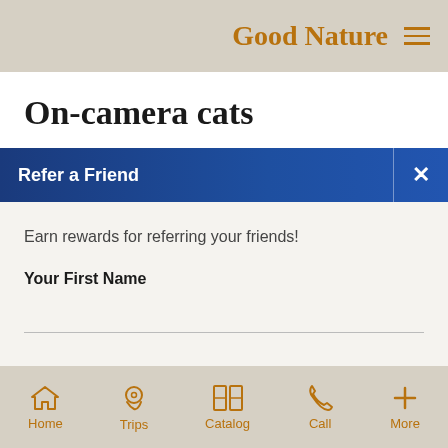Good Nature
On-camera cats
Refer a Friend
Earn rewards for referring your friends!
Your First Name
Your Last Name
Home  Trips  Catalog  Call  More